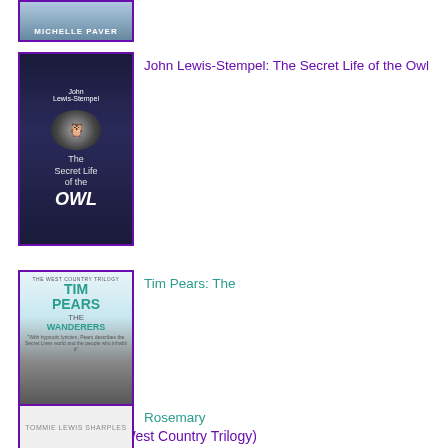[Figure (illustration): Book cover for Michelle Paver (top portion only visible), purple border]
[Figure (illustration): Book cover: John Lewis-Stempel The Secret Life of the Owl, dark navy background with owl imagery, purple border]
John Lewis-Stempel: The Secret Life of the Owl
[Figure (illustration): Book cover: Tim Pears The Wanderers (The West Country Trilogy), teal author name, grayscale horse and rider landscape, purple border]
Tim Pears: The Wanderers (The West Country Trilogy)
[Figure (illustration): Book cover for Rosemary (partially visible at bottom), purple border]
Rosemary